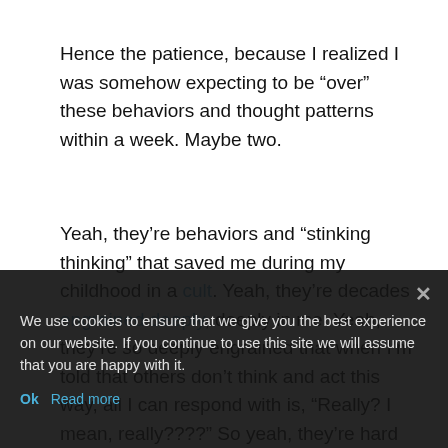Hence the patience, because I realized I was somehow expecting to be “over” these behaviors and thought patterns within a week. Maybe two.
Yeah, they’re behaviors and “stinking thinking” that saved me during my childhood in a cult. Yeah, they’re decades engrained deeply, deeply in me. Yeah, they’re so deeply engrained that when I’m told that others don’t think and act this way, all I can respond with is, “Really? I mean, really????” So yeah, they’re hard to let go of.
Hence the patience. The need for patience. I’ve admitted to myself (and here) that I’ll be letting go of these behaviors and correcting unhealthy behaviors and thought patterns now. And now I’m admitting to myself (and here) that I’ll be trying new behaviors…
We use cookies to ensure that we give you the best experience on our website. If you continue to use this site we will assume that you are happy with it.